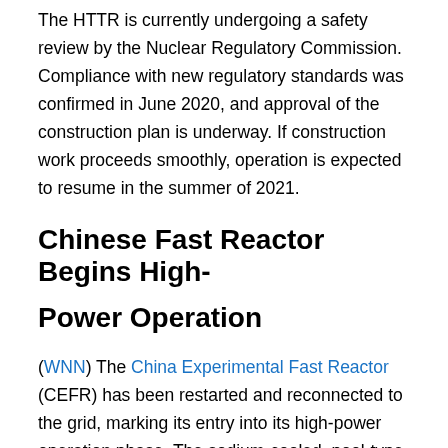The HTTR is currently undergoing a safety review by the Nuclear Regulatory Commission. Compliance with new regulatory standards was confirmed in June 2020, and approval of the construction plan is underway. If construction work proceeds smoothly, operation is expected to resume in the summer of 2021.
Chinese Fast Reactor Begins High-Power Operation
(WNN) The China Experimental Fast Reactor (CEFR) has been restarted and reconnected to the grid, marking its entry into its high-power operation phase. The sodium-cooled, pool-type fast reactor began a refueling and maintenance outage at the end of July last year, having